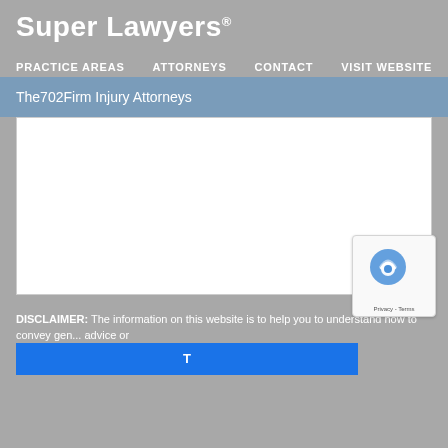Super Lawyers®
PRACTICE AREAS   ATTORNEYS   CONTACT   VISIT WEBSITE
The702Firm Injury Attorneys
[Figure (other): White blank content area placeholder]
DISCLAIMER: The information on this website is to help you to understand how to convey gen... advice or